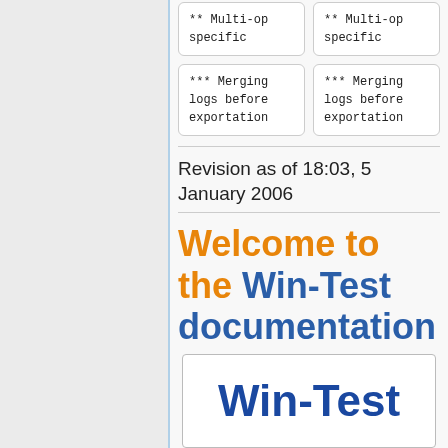** Multi-op specific
** Multi-op specific
*** Merging logs before exportation
*** Merging logs before exportation
Revision as of 18:03, 5 January 2006
Welcome to the Win-Test documentation
Win-Test